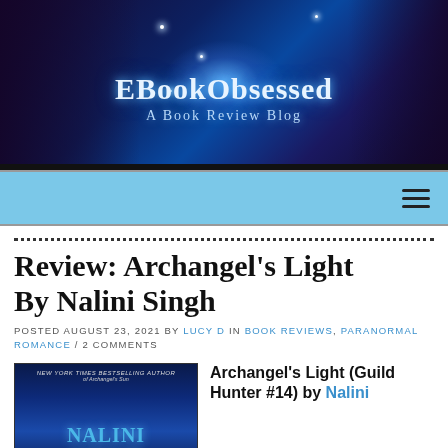[Figure (illustration): EBook Obsessed blog banner with fantasy/magical blue background, woman reading on left, castle in center, dragon on right. Text reads 'EBookObsessed - A Book Review Blog']
EBookObsessed - A Book Review Blog
Review: Archangel's Light By Nalini Singh
POSTED AUGUST 23, 2021 BY LUCY D IN BOOK REVIEWS, PARANORMAL ROMANCE / 2 COMMENTS
Archangel's Light (Guild Hunter #14) by Nalini